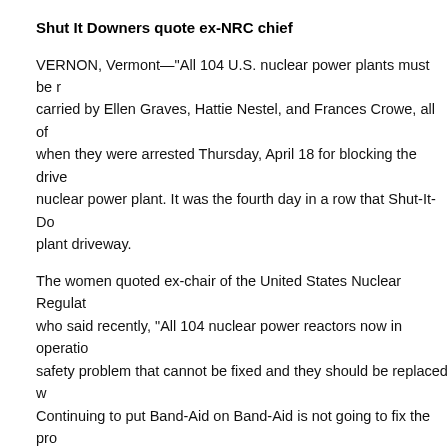Shut It Downers quote ex-NRC chief
VERNON, Vermont—"All 104 U.S. nuclear power plants must be r... carried by Ellen Graves, Hattie Nestel, and Frances Crowe, all of when they were arrested Thursday, April 18 for blocking the drive... nuclear power plant. It was the fourth day in a row that Shut-It-Do... plant driveway.
The women quoted ex-chair of the United States Nuclear Regulat... who said recently, "All 104 nuclear power reactors now in operatio... safety problem that cannot be fixed and they should be replaced w... Continuing to put Band-Aid on Band-Aid is not going to fix the pro...
"There is no logical reason for the power plant to continue operati... and the Entergy Corporation keeps it going only to reap financial p... health and safety. When someone like the NRC chairman tells us we should listen."
Dr. Jaczko made his remarks at the Carnegie International Nuclea... Washington, April 13...